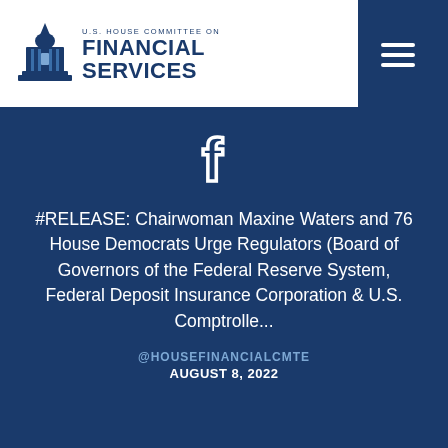[Figure (logo): U.S. House Committee on Financial Services logo with capitol building icon and text]
#RELEASE: Chairwoman Maxine Waters and 76 House Democrats Urge Regulators (Board of Governors of the Federal Reserve System, Federal Deposit Insurance Corporation & U.S. Comptrolle...
@HOUSEFINANCIALCMTE
AUGUST 8, 2022